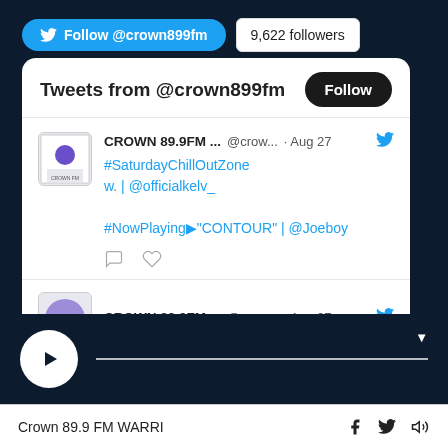Follow @crown899fm
9,622 followers
Tweets from @crown899fm
Follow
CROWN 89.9FM ... @crow... · Aug 27
#SaturdayChillOutZone w. | @officialkelv_

#NowPlaying▶"CONTOUR" | @Joeboy
CROWN 89.9FM ... @crow... · Aug 27
Crown 89.9 FM WARRI